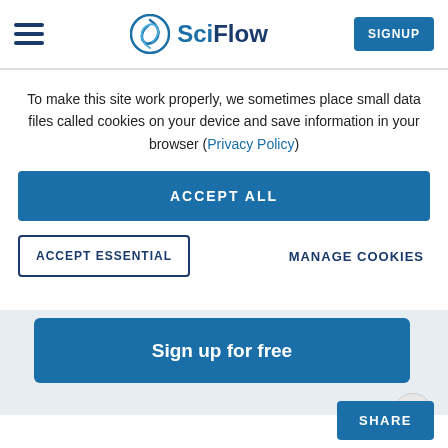SciFlow — SIGNUP
To make this site work properly, we sometimes place small data files called cookies on your device and save information in your browser (Privacy Policy)
ACCEPT ALL
ACCEPT ESSENTIAL
MANAGE COOKIES
Sign up for free
SHARE